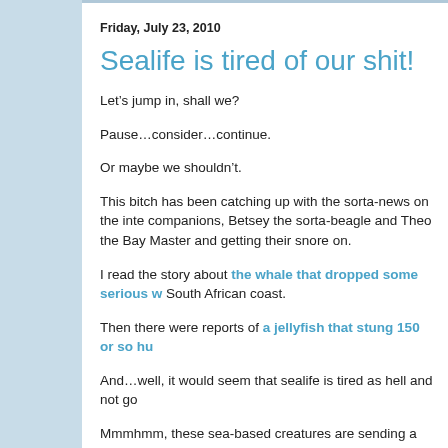Friday, July 23, 2010
Sealife is tired of our shit!
Let’s jump in, shall we?
Pause…consider…continue.
Or maybe we shouldn’t.
This bitch has been catching up with the sorta-news on the inte companions, Betsey the sorta-beagle and Theo the Bay Master and getting their snore on.
I read the story about the whale that dropped some serious w South African coast.
Then there were reports of a jellyfish that stung 150 or so hu
And…well, it would seem that sealife is tired as hell and not go
Mmmhmm, these sea-based creatures are sending a message